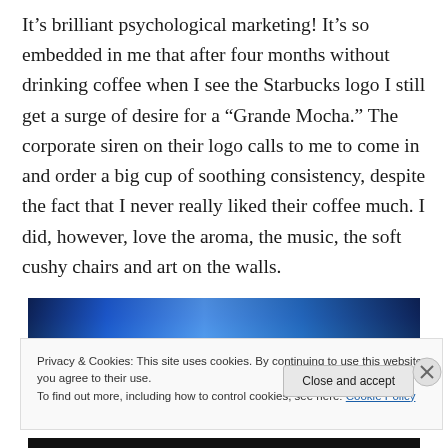It’s brilliant psychological marketing! It’s so embedded in me that after four months without drinking coffee when I see the Starbucks logo I still get a surge of desire for a “Grande Mocha.” The corporate siren on their logo calls to me to come in and order a big cup of soothing consistency, despite the fact that I never really liked their coffee much. I did, however, love the aroma, the music, the soft cushy chairs and art on the walls.
[Figure (photo): Partial image of a blue-toned photograph, mostly cropped, showing a dark blue scene]
Privacy & Cookies: This site uses cookies. By continuing to use this website, you agree to their use.
To find out more, including how to control cookies, see here: Cookie Policy
Close and accept